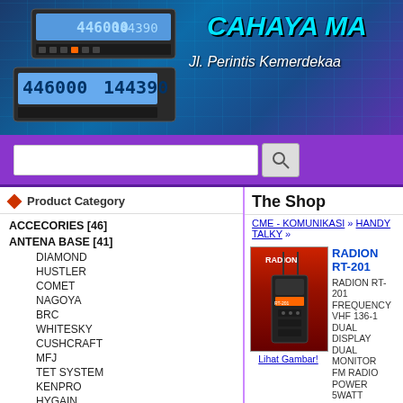[Figure (photo): Banner with radio transceiver image on left, blue circuit board background, 'CAHAYA MA' text in cyan italic bold, 'Jl. Perintis Kemerdekaa' subtitle in white italic]
[Figure (screenshot): Search bar with white input field and magnifying glass icon on purple background]
Product Category
ACCECORIES [46]
ANTENA BASE [41]
DIAMOND
HUSTLER
COMET
NAGOYA
BRC
WHITESKY
CUSHCRAFT
MFJ
TET SYSTEM
KENPRO
HYGAIN
The Shop
CME - KOMUNIKASI » HANDY TALKY »
[Figure (photo): RADION RT-201 handheld radio transceiver product image on red background]
Lihat Gambar!
RADION RT-201
RADION RT-201
FREQUENCY VHF 136-1
DUAL DISPLAY
DUAL MONITOR
FM RADIO
POWER 5WATT

Berat : 0
Detail Produk: